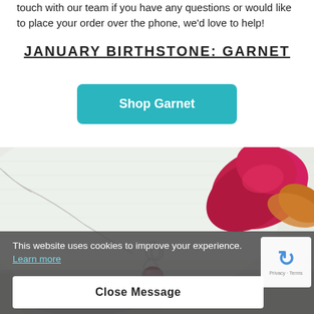touch with our team if you have any questions or would like to place your order over the phone, we'd love to help!
JANUARY BIRTHSTONE: GARNET
[Figure (illustration): Teal/cyan Shop Garnet button]
[Figure (photo): Close-up photo of a silver garnet pendant necklace on white fabric with a red flower petal in the background]
This website uses cookies to improve your experience. Learn more
[Figure (other): reCAPTCHA widget showing Privacy - Terms]
Close Message